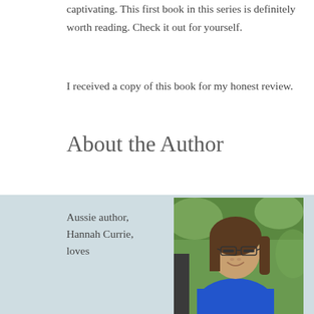The characters are interesting and the story is captivating.  This first book in this series is definitely worth reading.  Check it out for yourself.
I received a copy of this book for my honest review.
About the Author
Aussie author, Hannah Currie, loves
[Figure (photo): Portrait photo of Hannah Currie, a woman with long brown hair, glasses, wearing a blue top, smiling, with green foliage in the background]